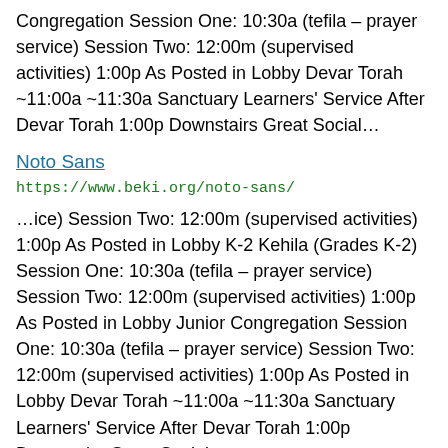Congregation Session One: 10:30a (tefila – prayer service) Session Two: 12:00m (supervised activities) 1:00p As Posted in Lobby Devar Torah ~11:00a ~11:30a Sanctuary Learners' Service After Devar Torah 1:00p Downstairs Great Social…
Noto Sans
https://www.beki.org/noto-sans/
…ice) Session Two: 12:00m (supervised activities) 1:00p As Posted in Lobby K-2 Kehila (Grades K-2) Session One: 10:30a (tefila – prayer service) Session Two: 12:00m (supervised activities) 1:00p As Posted in Lobby Junior Congregation Session One: 10:30a (tefila – prayer service) Session Two: 12:00m (supervised activities) 1:00p As Posted in Lobby Devar Torah ~11:00a ~11:30a Sanctuary Learners' Service After Devar Torah 1:00p Downstairs Great Social…